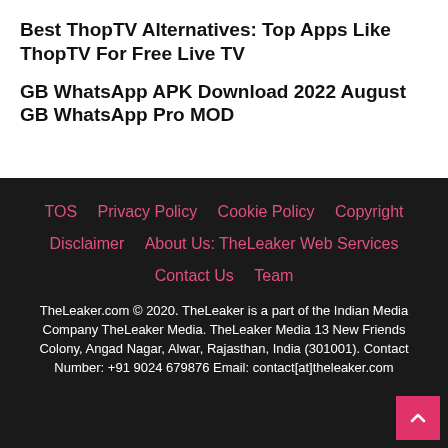Best ThopTV Alternatives: Top Apps Like ThopTV For Free Live TV
GB WhatsApp APK Download 2022 August GB WhatsApp Pro MOD
TOS  Privacy Policy  Cookie Policy  Copyright  Disclaimer  About Us: TheLeaker Web Services  Contact Us  Team
TheLeaker.com © 2020. TheLeaker is a part of the Indian Media Company TheLeaker Media. TheLeaker Media 13 New Friends Colony, Angad Nagar, Alwar, Rajasthan, India (301001). Contact Number: +91 9024 679876 Email: contact[at]theleaker.com